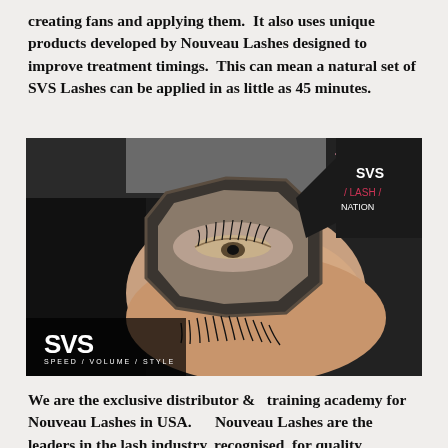creating fans and applying them. It also uses unique products developed by Nouveau Lashes designed to improve treatment timings. This can mean a natural set of SVS Lashes can be applied in as little as 45 minutes.
[Figure (photo): A close-up photograph of a person lying down with eyelash extensions being applied or inspected, viewed through a magnifying mirror. An SVS Speed/Volume/Style logo is visible in the lower-left corner of the image.]
We are the exclusive distributor &  training academy for Nouveau Lashes in USA.     Nouveau Lashes are the leaders in the lash industry, recognised  for quality products and